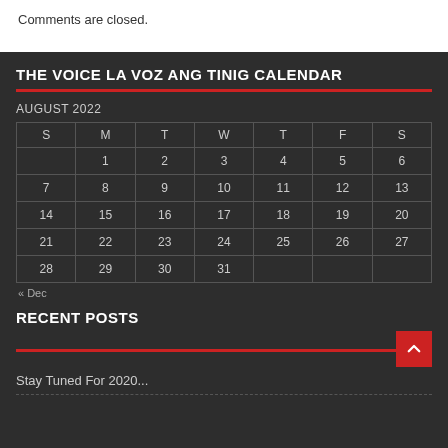Comments are closed.
THE VOICE LA VOZ ANG TINIG CALENDAR
AUGUST 2022
| S | M | T | W | T | F | S |
| --- | --- | --- | --- | --- | --- | --- |
|  | 1 | 2 | 3 | 4 | 5 | 6 |
| 7 | 8 | 9 | 10 | 11 | 12 | 13 |
| 14 | 15 | 16 | 17 | 18 | 19 | 20 |
| 21 | 22 | 23 | 24 | 25 | 26 | 27 |
| 28 | 29 | 30 | 31 |  |  |  |
« Dec
RECENT POSTS
Stay Tuned For 2020...